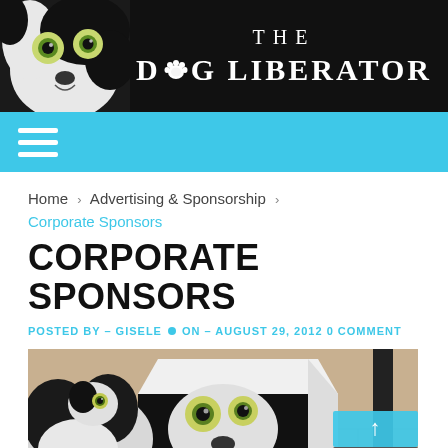[Figure (illustration): The Dog Liberator website header banner with a black and white dog face on the left and the site title 'THE DOG LIBERATOR' in white text on black background]
Navigation bar with hamburger menu icon on cyan/light blue background
Home › Advertising & Sponsorship ›
Corporate Sponsors
CORPORATE SPONSORS
POSTED BY – GISELE • ON – AUGUST 29, 2012 0 COMMENT
[Figure (photo): A black and white border collie dog looking at a box that has a printed image of the dog's face (from the header banner) on it. The scene is on a tiled floor.]